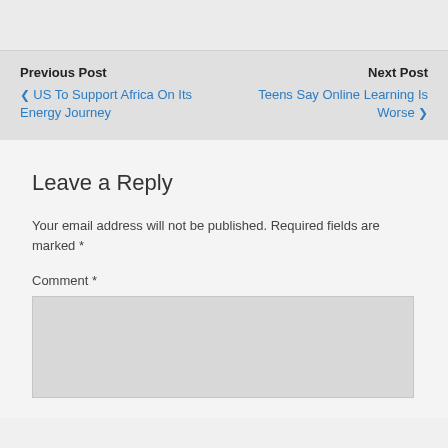Previous Post | Next Post | ❮ US To Support Africa On Its Energy Journey | Teens Say Online Learning Is Worse ❯
Leave a Reply
Your email address will not be published. Required fields are marked *
Comment *